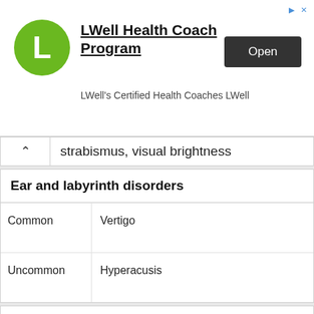[Figure (other): LWell Health Coach Program advertisement banner with green circular logo, bold title, subtitle text 'LWell’s Certified Health Coaches LWell', and dark Open button]
strabismus, visual brightness
Ear and labyrinth disorders
| Frequency | Effect |
| --- | --- |
| Common | Vertigo |
| Uncommon | Hyperacusis |
Cardiac disorders
| Frequency | Effect |
| --- | --- |
| Uncommon | Tachycardia, atrioventricular block first degree, sinus bradycardia, congestive |